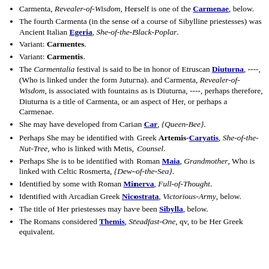Carmenta, Revealer-of-Wisdom, Herself is one of the Carmenae, below.
The fourth Carmenta (in the sense of a course of Sibylline priestesses) was Ancient Italian Egeria, She-of-the-Black-Poplar.
Variant: Carmentes.
Variant: Carmentis.
The Carmentalia festival is said to be in honor of Etruscan Diuturna, ----, (Who is linked under the form Juturna). and Carmenta, Revealer-of-Wisdom, is associated with fountains as is Diuturna, ----, perhaps therefore, Diuturna is a title of Carmenta, or an aspect of Her, or perhaps a Carmenae.
She may have developed from Carian Car, {Queen-Bee}.
Perhaps She may be identified with Greek Artemis-Caryatis, She-of-the-Nut-Tree, who is linked with Metis, Counsel.
Perhaps She is to be identified with Roman Maia, Grandmother, Who is linked with Celtic Rosmerta, {Dew-of-the-Sea}.
Identified by some with Roman Minerva, Full-of-Thought.
Identified with Arcadian Greek Nicostrata, Victorious-Army, below.
The title of Her priestesses may have been Sibylla, below.
The Romans considered Themis, Steadfast-One, qv, to be Her Greek equivalent.